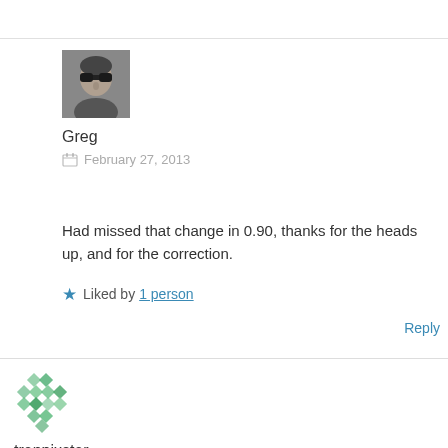[Figure (photo): Avatar photo of Greg — grayscale photo of a man wearing sunglasses]
Greg
February 27, 2013
Had missed that change in 0.90, thanks for the heads up, and for the correction.
Liked by 1 person
Reply
[Figure (photo): Avatar icon for trenpixster — green/teal geometric pattern avatar]
trenpixster
July 31, 2013